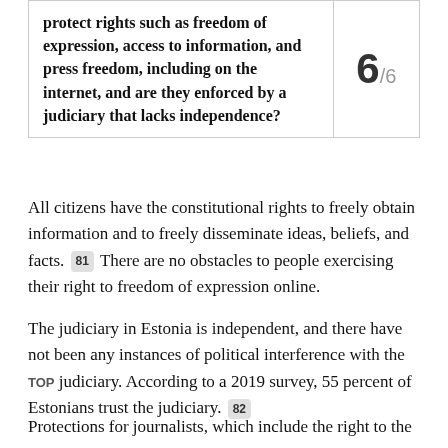| Question | Score |
| --- | --- |
| protect rights such as freedom of expression, access to information, and press freedom, including on the internet, and are they enforced by a judiciary that lacks independence? | 6/6 |
All citizens have the constitutional rights to freely obtain information and to freely disseminate ideas, beliefs, and facts. 81 There are no obstacles to people exercising their right to freedom of expression online.
The judiciary in Estonia is independent, and there have not been any instances of political interference with the judiciary. According to a 2019 survey, 55 percent of Estonians trust the judiciary. 82
Protections for journalists, which include the right to the confidentiality of sources, are... 83